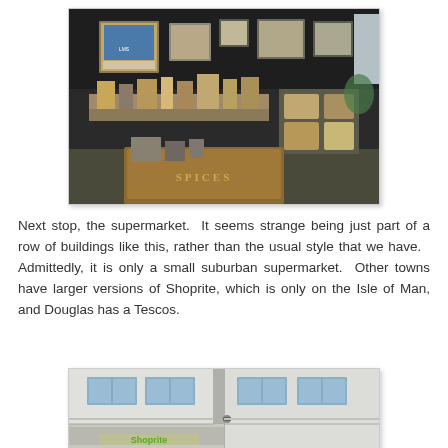[Figure (photo): Interior of a shop with dark walls, display tables covered in merchandise, framed posters and prints on the walls including an LMS railway poster, various goods and products on shelves and tables. A wooden counter in the foreground reads 'SPICES'.]
Next stop, the supermarket.  It seems strange being just part of a row of buildings like this, rather than the usual style that we have.  Admittedly, it is only a small suburban supermarket.  Other towns have larger versions of Shoprite, which is only on the Isle of Man, and Douglas has a Tescos.
[Figure (photo): Exterior of a white building with windows, showing the top portion of a Shoprite supermarket storefront on the Isle of Man.]